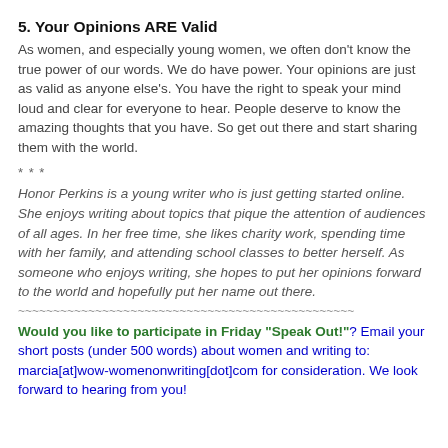5. Your Opinions ARE Valid
As women, and especially young women, we often don't know the true power of our words. We do have power. Your opinions are just as valid as anyone else's. You have the right to speak your mind loud and clear for everyone to hear. People deserve to know the amazing thoughts that you have. So get out there and start sharing them with the world.
* * *
Honor Perkins is a young writer who is just getting started online. She enjoys writing about topics that pique the attention of audiences of all ages. In her free time, she likes charity work, spending time with her family, and attending school classes to better herself. As someone who enjoys writing, she hopes to put her opinions forward to the world and hopefully put her name out there.
~~~~~~~~~~~~~~~~~~~~~~~~~~~~~~~~~~~~~~~~~~~~~~~~
Would you like to participate in Friday "Speak Out!"? Email your short posts (under 500 words) about women and writing to: marcia[at]wow-womenonwriting[dot]com for consideration. We look forward to hearing from you!